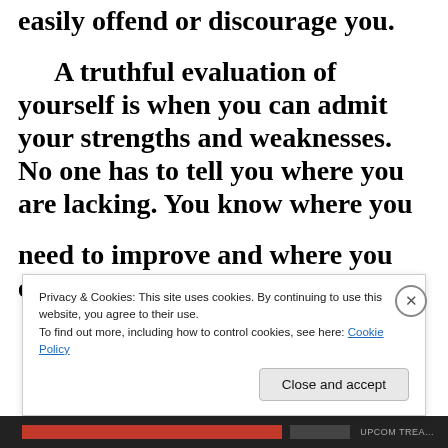know the truth about yourself no one can easily offend or discourage you.
A truthful evaluation of yourself is when you can admit your strengths and weaknesses. No one has to tell you where you are lacking. You know where you need to improve and where you excel.
Privacy & Cookies: This site uses cookies. By continuing to use this website, you agree to their use.
To find out more, including how to control cookies, see here: Cookie Policy